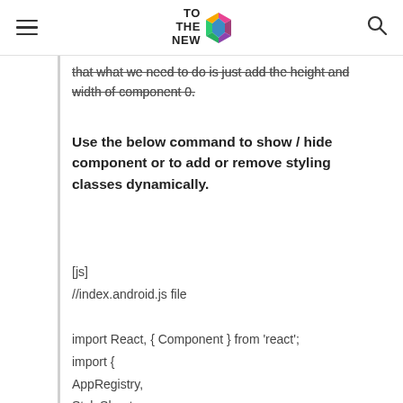TO THE NEW [logo]
that what we need to do is just add the height and width of component 0.
Use the below command to show / hide component or to add or remove styling classes dynamically.
[js]
//index.android.js file

import React, { Component } from 'react';
import {
AppRegistry,
StyleSheet,
Text,
View,